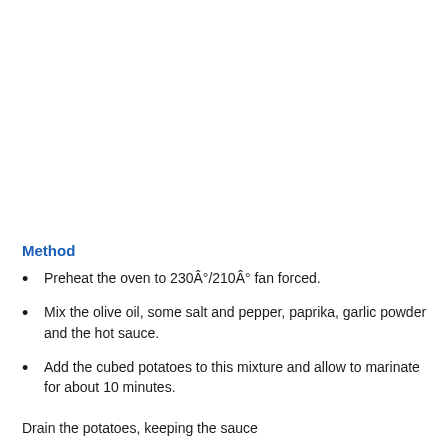Method
Preheat the oven to 230Â°/210Â° fan forced.
Mix the olive oil, some salt and pepper, paprika, garlic powder and the hot sauce.
Add the cubed potatoes to this mixture and allow to marinate for about 10 minutes.
Drain the potatoes, keeping the sauce